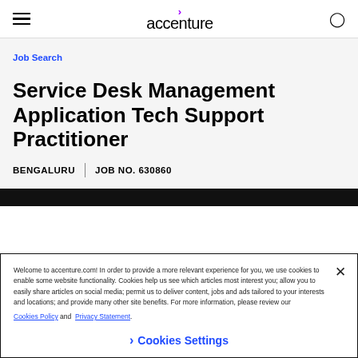accenture
Job Search
Service Desk Management Application Tech Support Practitioner
BENGALURU | JOB NO. 630860
Welcome to accenture.com! In order to provide a more relevant experience for you, we use cookies to enable some website functionality. Cookies help us see which articles most interest you; allow you to easily share articles on social media; permit us to deliver content, jobs and ads tailored to your interests and locations; and provide many other site benefits. For more information, please review our Cookies Policy and Privacy Statement.
❯ Cookies Settings